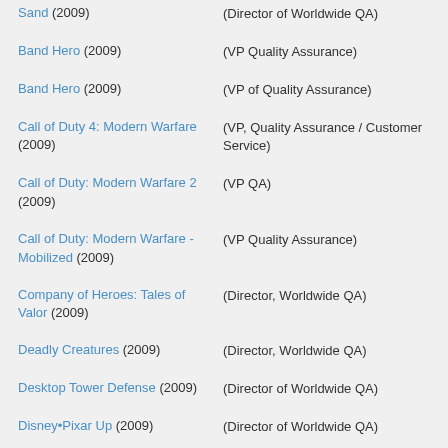Sand (2009) (Director of Worldwide QA)
Band Hero (2009) (VP Quality Assurance)
Band Hero (2009) (VP of Quality Assurance)
Call of Duty 4: Modern Warfare (2009) (VP, Quality Assurance / Customer Service)
Call of Duty: Modern Warfare 2 (2009) (VP QA)
Call of Duty: Modern Warfare - Mobilized (2009) (VP Quality Assurance)
Company of Heroes: Tales of Valor (2009) (Director, Worldwide QA)
Deadly Creatures (2009) (Director, Worldwide QA)
Desktop Tower Defense (2009) (Director of Worldwide QA)
Disney•Pixar Up (2009) (Director of Worldwide QA)
Disney•Pixar Up (2009) (Director of Worldwide QA)
Disney•Pixar Up (2009) (Director, Worldwide QA)